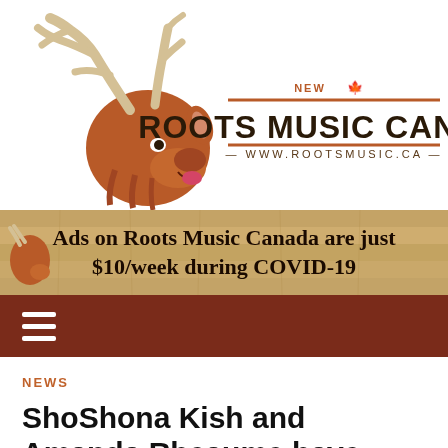[Figure (logo): Roots Music Canada logo featuring a cartoon moose head with antlers on the left and bold text 'ROOTS MUSIC CANADA' with 'NEW' maple leaf badge and website www.rootsmusic.ca]
[Figure (infographic): Advertisement banner with wood-plank texture background and moose illustration: 'Ads on Roots Music Canada are just $10/week during COVID-19']
NEWS
ShoShona Kish and Amanda Rheaume have launched a new